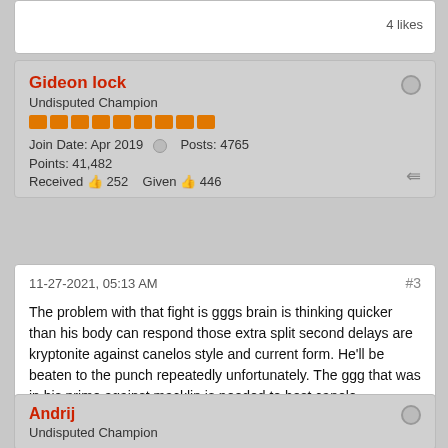4 likes
Gideon lock
Undisputed Champion
Join Date: Apr 2019   Posts: 4765   Points: 41,482   Received 252   Given 446
11-27-2021, 05:13 AM   #3
The problem with that fight is gggs brain is thinking quicker than his body can respond those extra split second delays are kryptonite against canelos style and current form. He'll be beaten to the punch repeatedly unfortunately. The ggg that was in his prime against macklin is needed to best canelo decisively
BustedKnuckles, harry-greb and 2 others like this.
4 likes
Andrij
Undisputed Champion